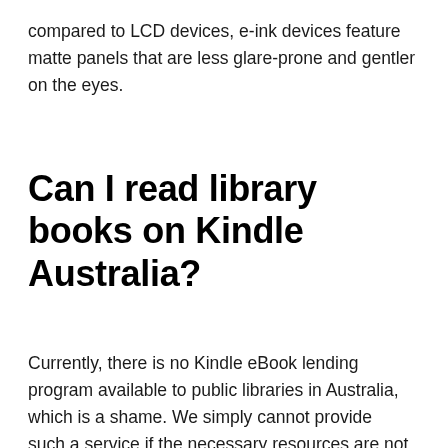compared to LCD devices, e-ink devices feature matte panels that are less glare-prone and gentler on the eyes.
Can I read library books on Kindle Australia?
Currently, there is no Kindle eBook lending program available to public libraries in Australia, which is a shame. We simply cannot provide such a service if the necessary resources are not accessible. When it